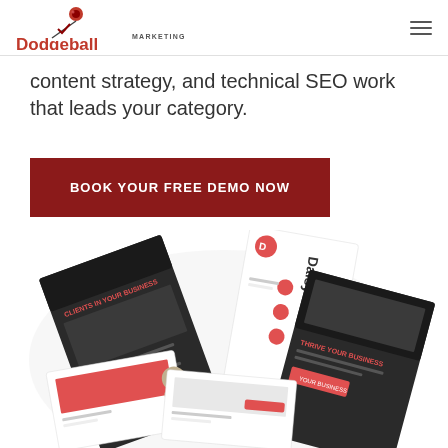Dodgeball Marketing
content strategy, and technical SEO work that leads your category.
BOOK YOUR FREE DEMO NOW
[Figure (screenshot): Collage of overlapping website/app design mockups with dark and white themes, red accent icons, showing website pages for a business theme called 'Daisy'.]